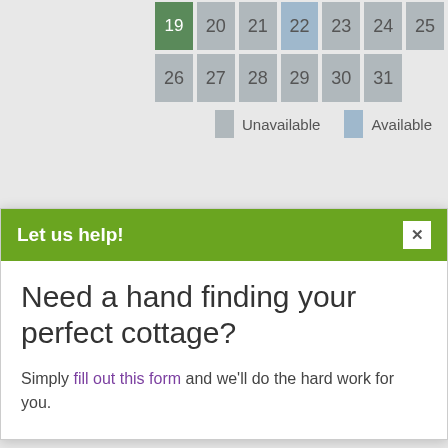[Figure (screenshot): Partial calendar grid showing rows with dates 19-25 and 26-31, with gray (unavailable) and blue-gray (available) cells. Date 19 has a green triangle (selected).]
Unavailable   Available
Let us help!
Need a hand finding your perfect cottage?
Simply fill out this form and we'll do the hard work for you.
Adults (18+ years): 2
Children (2-17 years): 0